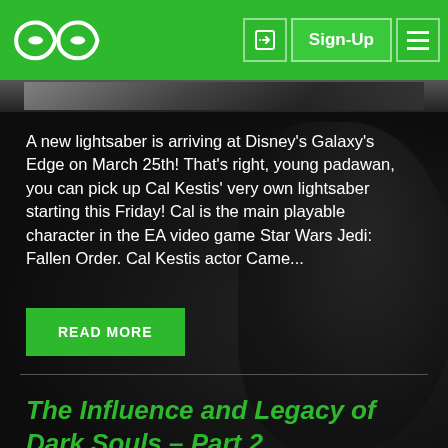[Figure (logo): Geeks + Gamers logo with infinity symbol and white text on green background header]
[Figure (photo): Partial image strip showing a scene, cropped at top of content area]
A new lightsaber is arriving at Disney's Galaxy's Edge on March 25th! That's right, young padawan, you can pick up Cal Kestis' very own lightsaber starting this Friday! Cal is the main playable character in the EA video game Star Wars Jedi: Fallen Order. Cal Kestis actor Came...
READ MORE
The Influence and Legacy of Dark Souls – Part 2